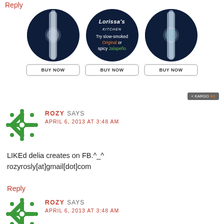[Figure (other): Lorissa's Kitchen advertisement banner with three circular product images and BUY NOW buttons, plus KARGO AD badge]
ROZY SAYS
APRIL 6, 2013 AT 3:48 AM
LIKEd delia creates on FB.^_^
rozyrosly[at]gmail[dot]com
Reply
ROZY SAYS
APRIL 6, 2013 AT 3:48 AM